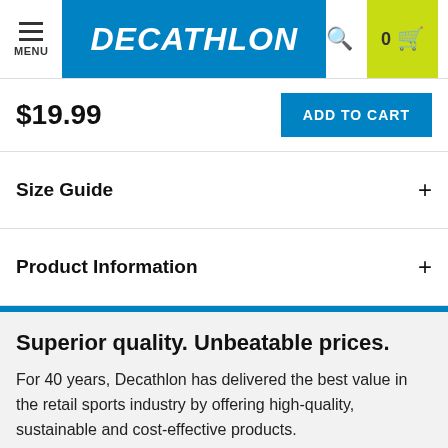[Figure (screenshot): Decathlon website header with hamburger menu, Decathlon logo on blue background, search icon, and cart with count 0 on lime-green background]
$19.99
ADD TO CART
Size Guide
Product Information
Superior quality. Unbeatable prices.
For 40 years, Decathlon has delivered the best value in the retail sports industry by offering high-quality, sustainable and cost-effective products.
[Figure (photo): Two gray placeholder product images at the bottom of the page]